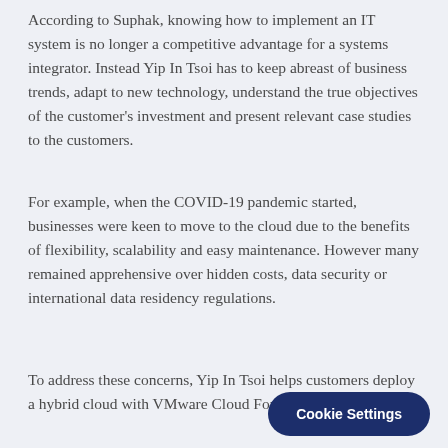According to Suphak, knowing how to implement an IT system is no longer a competitive advantage for a systems integrator. Instead Yip In Tsoi has to keep abreast of business trends, adapt to new technology, understand the true objectives of the customer's investment and present relevant case studies to the customers.
For example, when the COVID-19 pandemic started, businesses were keen to move to the cloud due to the benefits of flexibility, scalability and easy maintenance. However many remained apprehensive over hidden costs, data security or international data residency regulations.
To address these concerns, Yip In Tsoi helps customers deploy a hybrid cloud with VMware Cloud Foundation so that the...